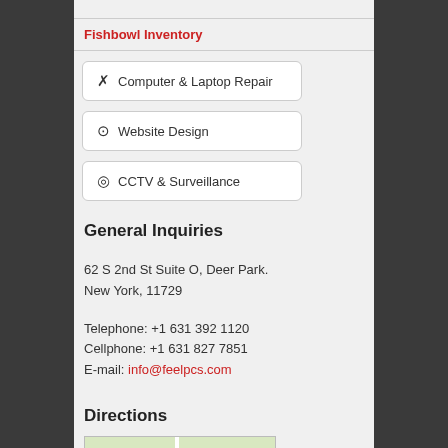Fishbowl Inventory
Computer & Laptop Repair
Website Design
CCTV & Surveillance
General Inquiries
62 S 2nd St Suite O, Deer Park.
New York, 11729
Telephone: +1 631 392 1120
Cellphone: +1 631 827 7851
E-mail: info@feelpcs.com
Directions
[Figure (map): Partial map showing street view of Deer Park area]